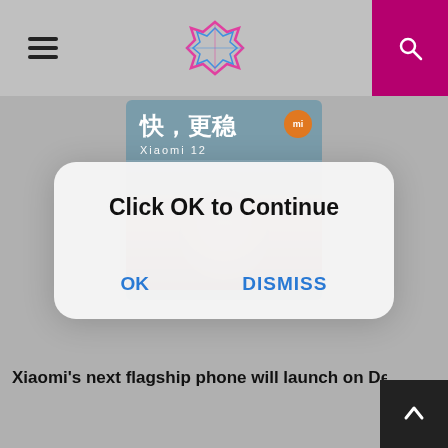[Figure (screenshot): Website navigation bar with hamburger menu on left, stylized C logo in center, and purple search button on right]
[Figure (photo): Xiaomi 12 advertisement showing Chinese text '快，更稳', Xiaomi 12 model name, Mi logo badge, and a person in athletic wear]
[Figure (screenshot): Modal dialog box with 'Click OK to Continue' message and OK / DISMISS buttons]
Xiaomi's next flagship phone will launch on December 2…
[Figure (other): Back to top button with upward arrow]